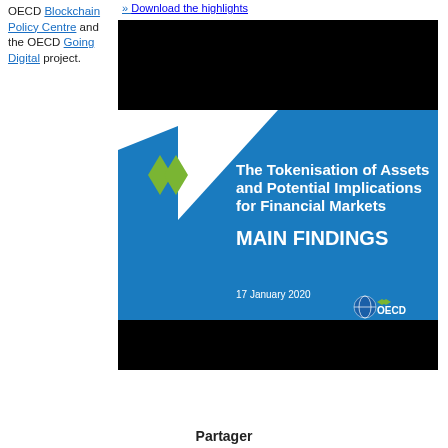Download the highlights
OECD Blockchain Policy Centre and the OECD Going Digital project.
[Figure (illustration): Cover image of OECD report titled 'The Tokenisation of Assets and Potential Implications for Financial Markets - MAIN FINDINGS', dated 17 January 2020. Blue and white cover with OECD logo and chevron design.]
Partager